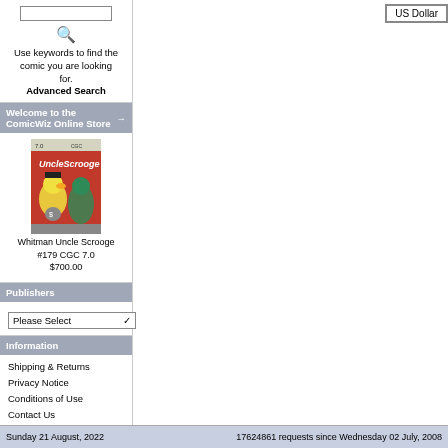Use keywords to find the comic you are looking for. Advanced Search
Welcome to the ComicWiz Online Store
[Figure (photo): Comic book cover for Whitman Uncle Scrooge #179 with red background]
Whitman Uncle Scrooge #179 CGC 7.0 $700.00
Publishers
Please Select
Information
Shipping & Returns
Privacy Notice
Conditions of Use
Contact Us
US Dollar
Sunday 21 August, 2022   17624861 requests since Wednesday 02 July, 2008